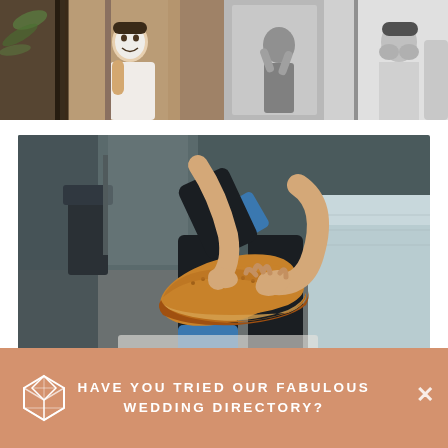[Figure (photo): Two-panel photo: left panel shows a man with a white face mask peeking around a door wrapped in a towel; right panel is black and white showing a man applying something to his face in a bathroom mirror.]
[Figure (photo): Large photo of a person sitting on a bed putting on a tan leather brogue dress shoe with blue socks, dark trousers, hotel room background.]
HAVE YOU TRIED OUR FABULOUS WEDDING DIRECTORY?